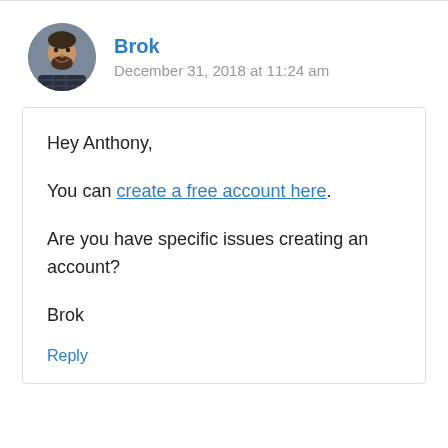[Figure (photo): Circular avatar photo of a man with short hair and a beard, wearing a dark plaid shirt, smiling.]
Brok
December 31, 2018 at 11:24 am
Hey Anthony,

You can create a free account here.

Are you have specific issues creating an account?

Brok
Reply